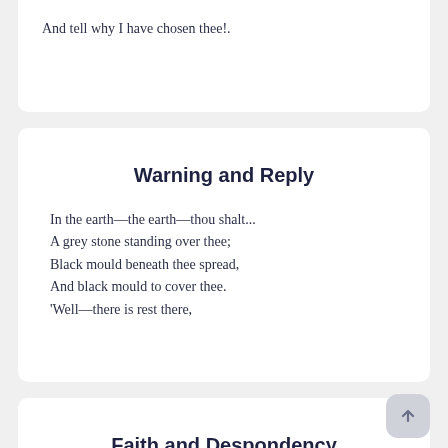And tell why I have chosen thee!.
Warning and Reply
In the earth—the earth—thou shalt...
A grey stone standing over thee;
Black mould beneath thee spread,
And black mould to cover thee.
'Well—there is rest there,
Faith and Despondency
The winter wind is loud and wild,